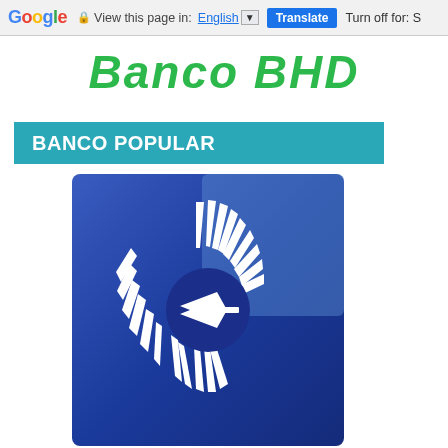Google  View this page in: English ▼  Translate  Turn off for: S
[Figure (logo): Banco BHD logo — bold italic green text reading 'Banco BHD']
BANCO POPULAR
[Figure (logo): Banco Popular logo — dark blue square with white radial sunburst/gear symbol in the center, the rays arranged in a circular pattern with a crescent gap on the right side]